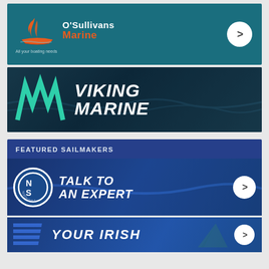[Figure (logo): O'Sullivans Marine advertisement banner with teal background, sailboat logo in orange/red, text 'O'Sullivans Marine - All your boating needs', and white arrow circle button]
[Figure (logo): Viking Marine advertisement banner with dark ocean background, teal geometric VM logo mark, white bold italic text 'VIKING MARINE']
FEATURED SAILMAKERS
[Figure (logo): North Sails advertisement banner with dark blue ocean background, North Sails circular logo, white bold italic text 'TALK TO AN EXPERT', and white arrow circle button]
[Figure (logo): Partial advertisement banner with blue background showing striped logo and partial text 'YOUR IRISH' with white arrow circle button]